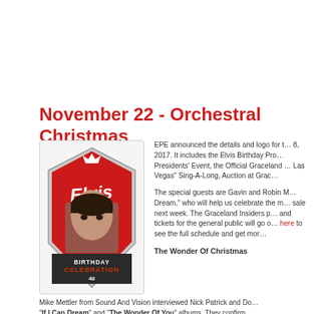November 22 - Orchestral Christmas
[Figure (logo): Elvis Birthday Celebration 2017 logo — red hexagonal badge with Elvis portrait, script 'Elvis' text, '2017', and 'BIRTHDAY CELEBRATION 40' text]
EPE announced the details and logo for t… 8, 2017. It includes the Elvis Birthday Pro… Presidents' Event, the Official Graceland … Las Vegas" Sing-A-Long, Auction at Grac…
The special guests are Gavin and Robin M… Dream," who will help us celebrate the m… sale next week. The Graceland Insiders p… and tickets for the general public will go o… here to see the full schedule and get mor…
The Wonder Of Christmas
Mike Mettler from Sound And Vision interviewed Nick Patrick and Do… "If I Can Dream" and "The Wonder Of You" albums. They confirm…